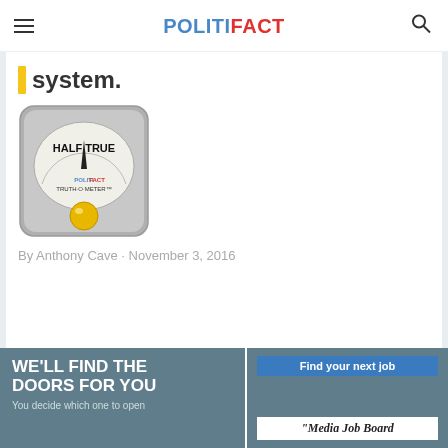POLITIFACT
system.
[Figure (illustration): PolitiFact Truth-O-Meter gauge showing 'HALF TRUE' rating with a yellow indicator ball at the bottom center of the meter dial]
By Anthony Cave · November 3, 2016
[Figure (infographic): Navigation dots row — first dot filled dark, remaining dots gray]
[Figure (infographic): Advertisement banner: left side dark blue-gray 'WE'LL FIND THE DOORS FOR YOU / You decide which one to open'; right side 'Find your next job / Media Job Board']